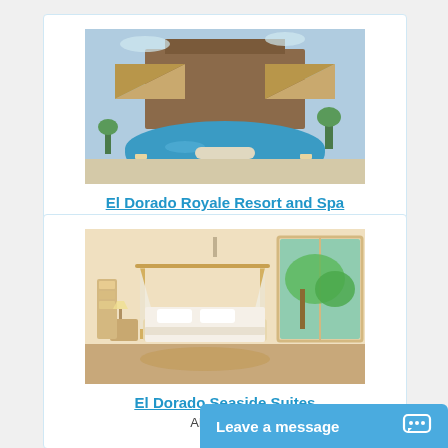[Figure (photo): Aerial/ground view of El Dorado Royale Resort pool area with thatched-roof bungalows and blue swimming pool]
El Dorado Royale Resort and Spa
All-Inclusive
[Figure (photo): Hotel bedroom with white canopy bed and large windows showing tropical garden view]
El Dorado Seaside Suites
All-Inclusive